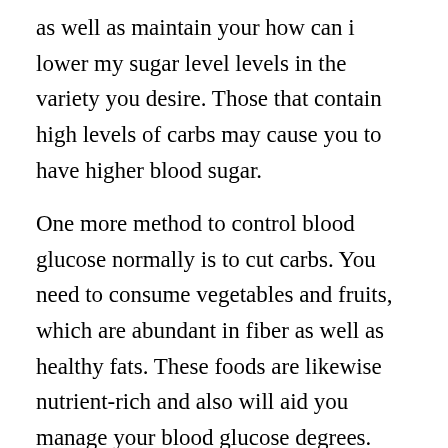as well as maintain your how can i lower my sugar level levels in the variety you desire. Those that contain high levels of carbs may cause you to have higher blood sugar.
One more method to control blood glucose normally is to cut carbs. You need to consume vegetables and fruits, which are abundant in fiber as well as healthy fats. These foods are likewise nutrient-rich and also will aid you manage your blood glucose degrees. They are additionally good for your wellness. You ought to not deprive on your own. Constantly eat a well balanced